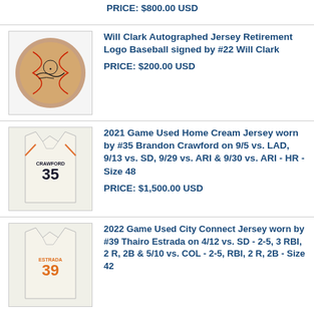PRICE: $800.00 USD
[Figure (photo): Autographed baseball with signature]
Will Clark Autographed Jersey Retirement Logo Baseball signed by #22 Will Clark
PRICE: $200.00 USD
[Figure (photo): White baseball jersey #35 Crawford]
2021 Game Used Home Cream Jersey worn by #35 Brandon Crawford on 9/5 vs. LAD, 9/13 vs. SD, 9/29 vs. ARI & 9/30 vs. ARI - HR - Size 48
PRICE: $1,500.00 USD
[Figure (photo): White baseball jersey #39 Estrada]
2022 Game Used City Connect Jersey worn by #39 Thairo Estrada on 4/12 vs. SD - 2-5, 3 RBI, 2 R, 2B & 5/10 vs. COL - 2-5, RBI, 2 R, 2B - Size 42